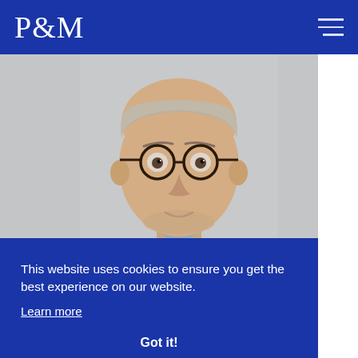P&M
[Figure (photo): Portrait photo of a middle-aged man wearing glasses and a grey button-down shirt, against a light grey background]
This website uses cookies to ensure you get the best experience on our website.
Learn more
Got it!
[Figure (photo): Partial view of another person below the cookie banner]